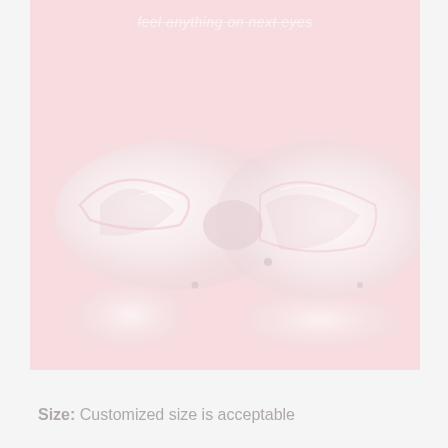[Figure (photo): Pink background product photo showing transparent/white silicone eye patches shaped like a sleeping mask, with a faint watermark text overlay reading 'feel anything on next eyes']
Size: Customized size is acceptable